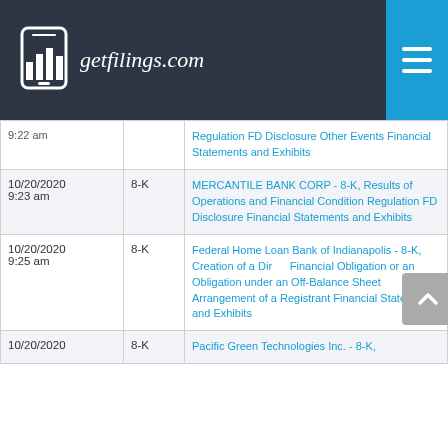getfilings.com
| Date/Time | Type | Filing Title |
| --- | --- | --- |
| 9:22 am |  | Regulation FD Disclosure Other Events Financial Statements and Exhibits |
| 10/20/2020 9:23 am | 8-K | MERCANTILE BANK CORP - 8-K, Results of Operations and Financial Condition Regulation FD Disclosure Financial Statements and Exhibits |
| 10/20/2020 9:25 am | 8-K | Federal Home Loan Bank of Indianapolis - 8-K, Creation of a Direct Financial Obligation or an Obligation under an Off-Balance Sheet Arrangement of a Registrant Financial Statements and Exhibits |
| 10/20/2020 | 8-K | Pacific Green Technologies Inc. - 8-K, |